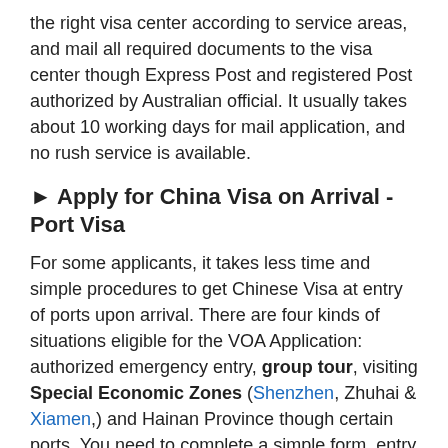the right visa center according to service areas, and mail all required documents to the visa center though Express Post and registered Post authorized by Australian official. It usually takes about 10 working days for mail application, and no rush service is available.
► Apply for China Visa on Arrival - Port Visa
For some applicants, it takes less time and simple procedures to get Chinese Visa at entry of ports upon arrival. There are four kinds of situations eligible for the VOA Application: authorized emergency entry, group tour, visiting Special Economic Zones (Shenzhen, Zhuhai & Xiamen,) and Hainan Province though certain ports. You need to complete a simple form, entry card, pay visa fee and accept frontier inspection at the port of entry.
Visitors obtaining Special Economic Tourism Visa must enter and exit at specific ports, stay within the cities, can not travel further to other cities unless apply for a new Chinese Visa. (Duration of Stay is 5 days for Shenzhen, 3 days for Xiamen & Zhuhai, 20 days for Hainan.)